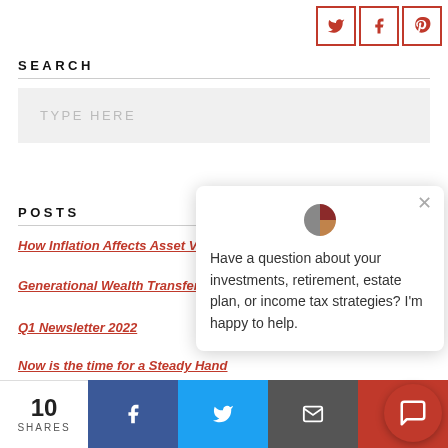[Figure (other): Social share icons: Twitter bird, Facebook f, Pinterest P in red-bordered boxes]
SEARCH
TYPE HERE
POSTS
How Inflation Affects Asset V...
Generational Wealth Transfer...
Q1 Newsletter 2022
Now is the time for a Steady Hand
[Figure (other): Chat popup with pie chart logo and text: Have a question about your investments, retirement, estate plan, or income tax strategies? I'm happy to help.]
[Figure (other): Share bar at bottom: 10 SHARES count, Facebook, Twitter, Email, Pinterest buttons, and red chat button]